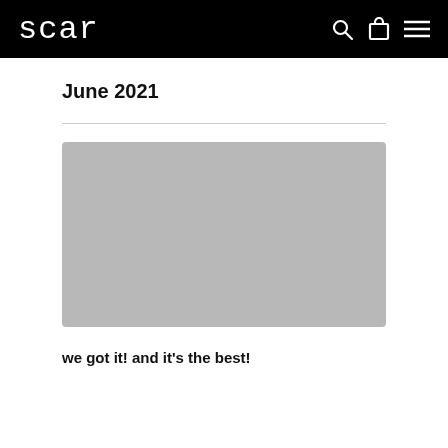scar
June 2021
[Figure (photo): Gray placeholder image rectangle]
we got it! and it's the best!